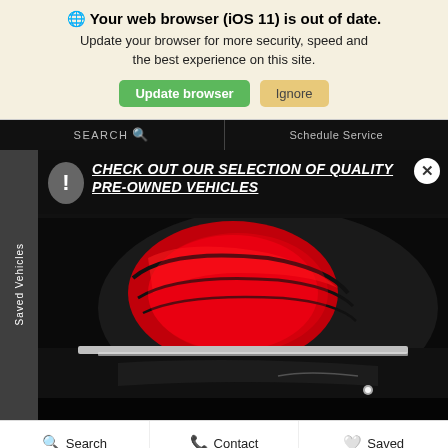🌐 Your web browser (iOS 11) is out of date. Update your browser for more security, speed and the best experience on this site.
Update browser | Ignore
SEARCH 🔍  |  Schedule Service
CHECK OUT OUR SELECTION OF QUALITY PRE-OWNED VEHICLES
Saved Vehicles
[Figure (photo): Close-up of a car's red tail light and rear bumper area with chrome trim, on a dark background]
Search | Contact | Saved